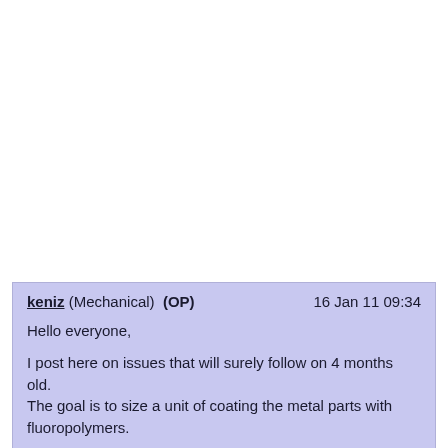keniz (Mechanical)  (OP)   16 Jan 11 09:34

Hello everyone,

I post here on issues that will surely follow on 4 months old.
The goal is to size a unit of coating the metal parts with fluoropolymers.

I do not care that the section on equipment and tooling.

This is to size the new unit EPF see other ideas on the previous phases.